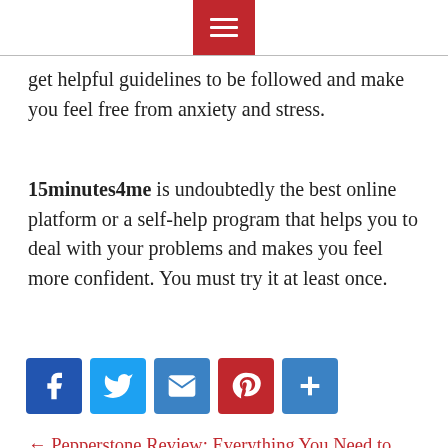☰
get helpful guidelines to be followed and make you feel free from anxiety and stress.
15minutes4me is undoubtedly the best online platform or a self-help program that helps you to deal with your problems and makes you feel more confident. You must try it at least once.
[Figure (infographic): Social share icons: Facebook (blue), Twitter (blue), Email (blue), Pinterest (red), Share/Plus (blue)]
← Pepperstone Review: Everything You Need to Know
Financial Apps Everyone Should Use For Improved Living →